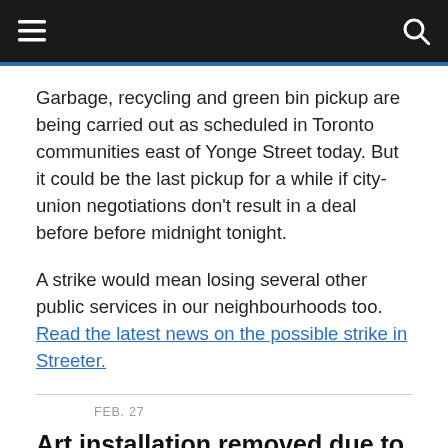Navigation bar with menu and search icons
Garbage, recycling and green bin pickup are being carried out as scheduled in Toronto communities east of Yonge Street today. But it could be the last pickup for a while if city-union negotiations don't result in a deal before before midnight tonight.
A strike would mean losing several other public services in our neighbourhoods too. Read the latest news on the possible strike in Streeter.
Feb. 27
Art installation removed due to damage
Winter Stations communications team, KG&A, released a statement this morning that the "Noodle Feed" art installation on Woodbine Beach had been